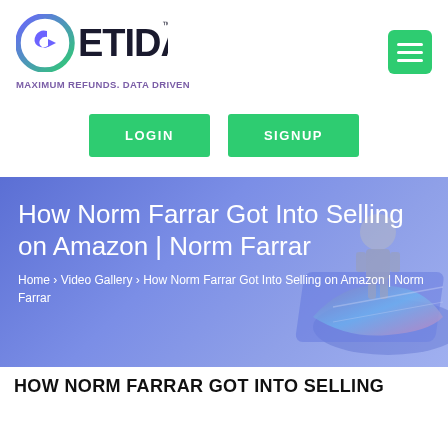[Figure (logo): GETIDA logo with arrow icon and tagline MAXIMUM REFUNDS. DATA DRIVEN]
[Figure (other): Green hamburger menu button (three horizontal lines)]
LOGIN
SIGNUP
How Norm Farrar Got Into Selling on Amazon | Norm Farrar
Home › Video Gallery › How Norm Farrar Got Into Selling on Amazon | Norm Farrar
HOW NORM FARRAR GOT INTO SELLING